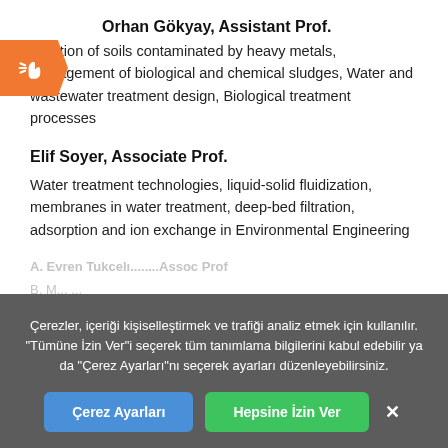Orhan Gökyay, Assistant Prof.
bilitation of soils contaminated by heavy metals, Management of biological and chemical sludges, Water and wastewater treatment design, Biological treatment processes
Elif Soyer, Associate Prof.
Water treatment technologies, liquid-solid fluidization, membranes in water treatment, deep-bed filtration, adsorption and ion exchange in Environmental Engineering
A. Evren Tugcu...
Çerezler, içeriği kişiselleştirmek ve trafiği analiz etmek için kullanılır. "Tümüne İzin Ver"i seçerek tüm tanımlama bilgilerini kabul edebilir ya da "Çerez Ayarları"nı seçerek ayarları düzenleyebilirsiniz.